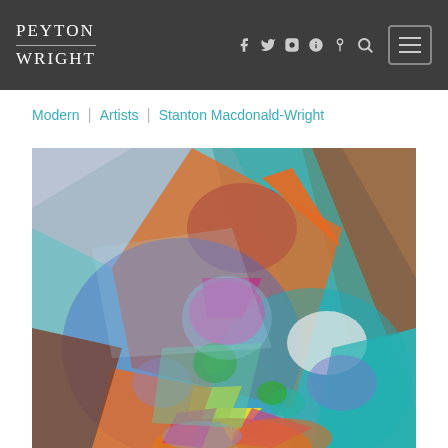PEYTON WRIGHT
Modern | Artists | Stanton Macdonald-Wright
[Figure (photo): Abstract colorful painting by Stanton Macdonald-Wright featuring overlapping geometric shapes in blue, orange, teal, brown, green, yellow, pink, and purple tones in a Synchromist style]